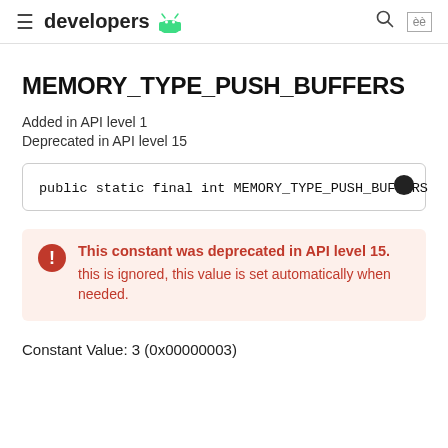developers
MEMORY_TYPE_PUSH_BUFFERS
Added in API level 1
Deprecated in API level 15
public static final int MEMORY_TYPE_PUSH_BUFFERS
This constant was deprecated in API level 15. this is ignored, this value is set automatically when needed.
Constant Value: 3 (0x00000003)